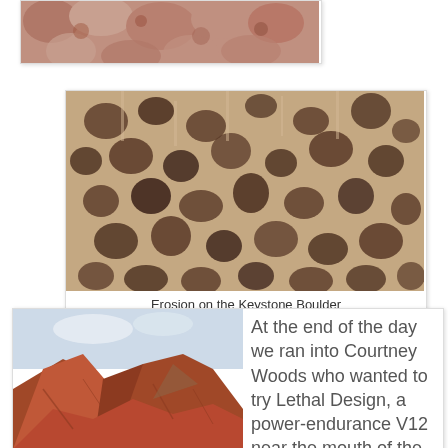[Figure (photo): Partial photo of reddish-pink rock surface with bumpy texture, partially cropped at the top of the page]
[Figure (photo): Close-up photo of eroded honeycomb-patterned sandstone surface on the Keystone Boulder, brown/tan tones with deep cavities]
Erosion on the Keystone Boulder
[Figure (photo): Photo of red rock canyon landscape with mountains and sky visible in the background]
At the end of the day we ran into Courtney Woods who wanted to try Lethal Design, a power-endurance V12 near the mouth of the canyon. I was able to take some